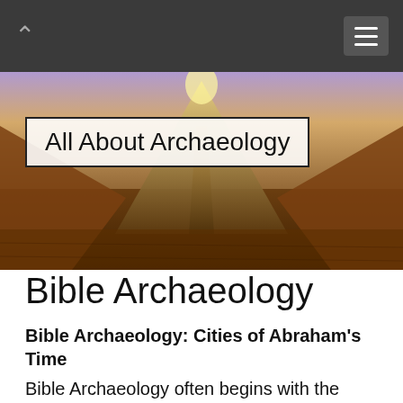All About Archaeology (navigation bar with logo and menu)
[Figure (photo): Hero image of a pyramid or ancient pathway leading into the distance with a dramatic sky, warm golden and purple tones, with a text overlay box reading 'All About Archaeology']
Bible Archaeology
Bible Archaeology: Cities of Abraham's Time
Bible Archaeology often begins with the early cities of Abraham and the Patriarchs.